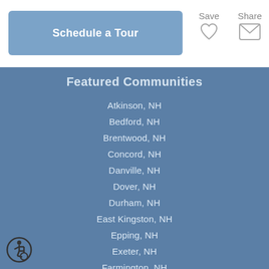Schedule a Tour
Save
Share
Featured Communities
Atkinson, NH
Bedford, NH
Brentwood, NH
Concord, NH
Danville, NH
Dover, NH
Durham, NH
East Kingston, NH
Epping, NH
Exeter, NH
Farmington, NH
Fremont, NH
Greenland, NH
[Figure (illustration): Accessibility icon — person in wheelchair in a circle]